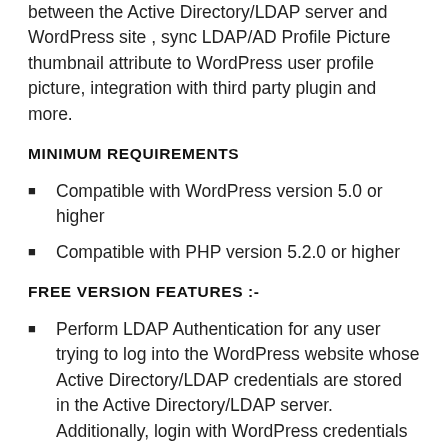between the Active Directory/LDAP server and WordPress site , sync LDAP/AD Profile Picture thumbnail attribute to WordPress user profile picture, integration with third party plugin and more.
MINIMUM REQUIREMENTS
Compatible with WordPress version 5.0 or higher
Compatible with PHP version 5.2.0 or higher
FREE VERSION FEATURES :-
Perform LDAP Authentication for any user trying to log into the WordPress website whose Active Directory/LDAP credentials are stored in the Active Directory/LDAP server. Additionally, login with WordPress credentials supported if enabled.
Keep the WordPress User�s profile information in sync with the Active Directory/other LDAP Directories upon authentication.